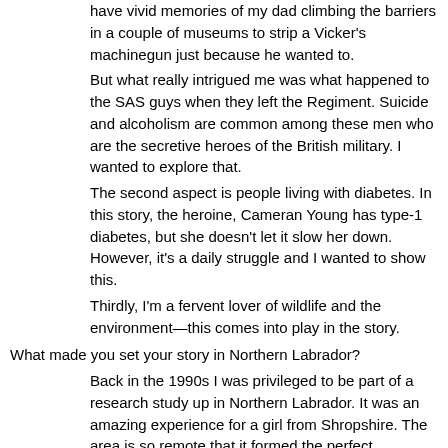have vivid memories of my dad climbing the barriers in a couple of museums to strip a Vicker's machinegun just because he wanted to.
But what really intrigued me was what happened to the SAS guys when they left the Regiment. Suicide and alcoholism are common among these men who are the secretive heroes of the British military. I wanted to explore that.
The second aspect is people living with diabetes. In this story, the heroine, Cameran Young has type-1 diabetes, but she doesn't let it slow her down. However, it's a daily struggle and I wanted to show this.
Thirdly, I'm a fervent lover of wildlife and the environment—this comes into play in the story.
What made you set your story in Northern Labrador?
Back in the 1990s I was privileged to be part of a research study up in Northern Labrador. It was an amazing experience for a girl from Shropshire. The area is so remote that it formed the perfect backdrop for this story and was somewhere I wanted to revisit, if only through writing.
How much research did you conduct for your story and what was the most interesting thing you did while conducting your research?